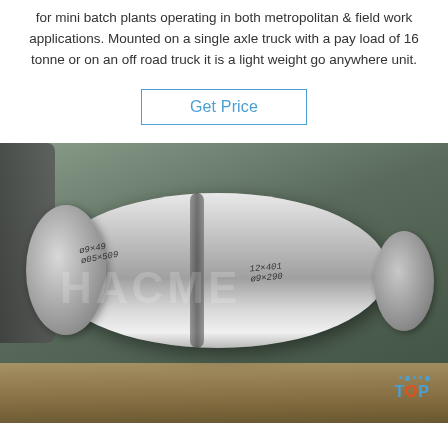for mini batch plants operating in both metropolitan & field work applications. Mounted on a single axle truck with a pay load of 16 tonne or on an off road truck it is a light weight go anywhere unit.
Get Price
[Figure (photo): Photo of large shiny aluminum/metal rolls or cylinders laid on a pallet in a warehouse. The rolls have handwritten dimension markings on them. A watermark with 'HACME' text and a 'TOP' logo with blue dots are overlaid on the image.]